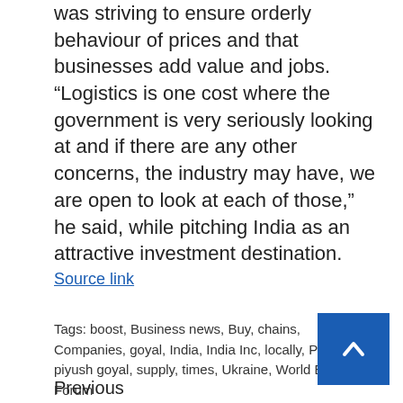was striving to ensure orderly behaviour of prices and that businesses add value and jobs. “Logistics is one cost where the government is very seriously looking at and if there are any other concerns, the industry may have, we are open to look at each of those,” he said, while pitching India as an attractive investment destination.
Source link
Tags: boost, Business news, Buy, chains, Companies, goyal, India, India Inc, locally, Piyush, piyush goyal, supply, times, Ukraine, World Economic Forum
Previous